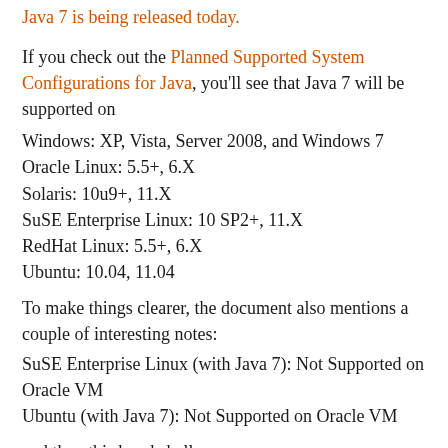Java 7 is being released today.
If you check out the Planned Supported System Configurations for Java, you'll see that Java 7 will be supported on
Windows: XP, Vista, Server 2008, and Windows 7
Oracle Linux: 5.5+, 6.X
Solaris: 10u9+, 11.X
SuSE Enterprise Linux: 10 SP2+, 11.X
RedHat Linux: 5.5+, 6.X
Ubuntu: 10.04, 11.04
To make things clearer, the document also mentions a couple of interesting notes:
SuSE Enterprise Linux (with Java 7): Not Supported on Oracle VM
Ubuntu (with Java 7): Not Supported on Oracle VM
and then this bombshell:
Custom Virtual Machine Support...